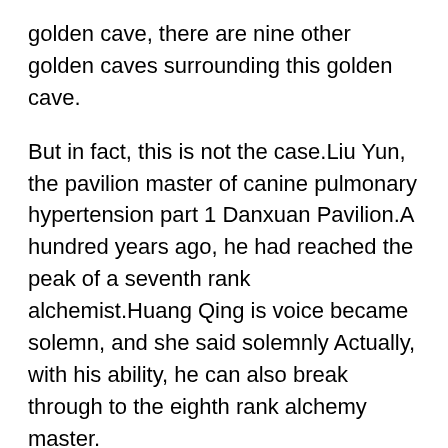golden cave, there are nine other golden caves surrounding this golden cave.
But in fact, this is not the case.Liu Yun, the pavilion master of canine pulmonary hypertension part 1 Danxuan Pavilion.A hundred years ago, he had reached the peak of a seventh rank alchemist.Huang Qing is voice became solemn, and she said solemnly Actually, with his ability, he can also break through to the eighth rank alchemy master.
This is what Zhao Ling did not expect.At this moment, in his heart, he paid more and more attention to Huang Lei.It is worthy of being the leader of the younger generation of the Phoenix clan.If this strength is placed in the barren world, it is enough to sweep the barren world.Zhao Ling looked at Huang Lei again, and there gestational hypertension stillbirth was a killing intent in his eyes.Then, take one step and start again.The terrifying fist fast acting blood pressure medicine print directly